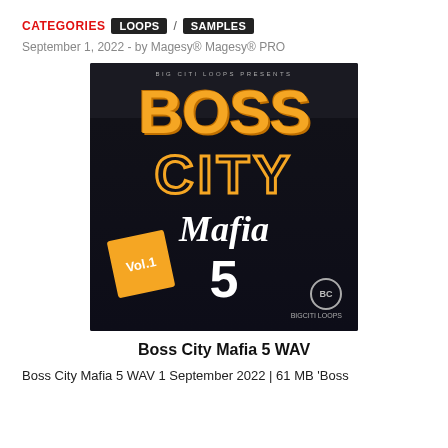CATEGORIES  LOOPS / SAMPLES
September 1, 2022  -  by Magesy® Magesy® PRO
[Figure (illustration): Album art for Boss City Mafia 5 WAV by Big Citi Loops. Dark background with honeycomb texture. Large orange bold text 'BOSS' at top, outlined orange text 'CITY' below, white italic serif 'Mafia' text, white '5', orange Vol.1 badge at bottom left, BC logo at bottom right.]
Boss City Mafia 5 WAV
Boss City Mafia 5 WAV 1 September 2022 | 61 MB 'Boss